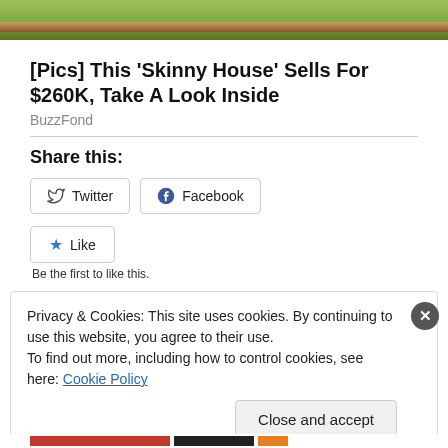[Figure (photo): Top strip of outdoor photo showing grass, mulch, plants, and a walkway]
[Pics] This 'Skinny House' Sells For $260K, Take A Look Inside
BuzzFond
Share this:
Twitter | Facebook
Like
Be the first to like this.
Privacy & Cookies: This site uses cookies. By continuing to use this website, you agree to their use.
To find out more, including how to control cookies, see here: Cookie Policy
Close and accept